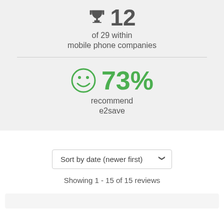[Figure (infographic): Trophy icon with ranking number 12]
of 29 within mobile phone companies
[Figure (infographic): Green smiley face icon with 73% recommendation percentage]
recommend e2save
Sort by date (newer first)
Showing 1 - 15 of 15 reviews